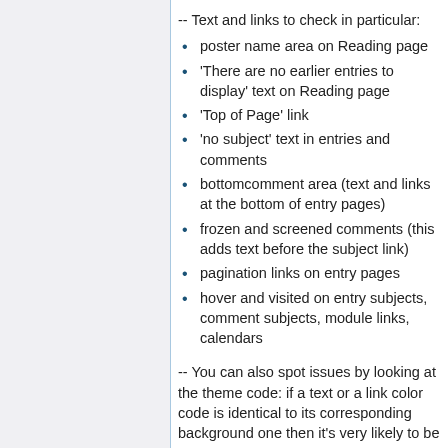-- Text and links to check in particular:
poster name area on Reading page
'There are no earlier entries to display' text on Reading page
'Top of Page' link
'no subject' text in entries and comments
bottomcomment area (text and links at the bottom of entry pages)
frozen and screened comments (this adds text before the subject link)
pagination links on entry pages
hover and visited on entry subjects, comment subjects, module links, calendars
-- You can also spot issues by looking at the theme code: if a text or a link color code is identical to its corresponding background one then it's very likely to be